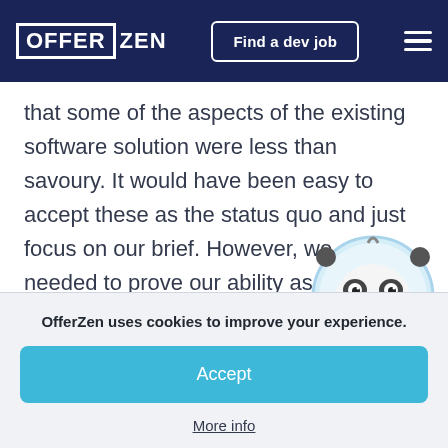OFFER ZEN | Find a dev job
that some of the aspects of the existing software solution were less than savoury. It would have been easy to accept these as the status quo and just focus on our brief. However, we needed to prove our ability as new members of this existing team. Our stra[tegy for] demonstrating our value was threefol[d]
[Figure (illustration): Cartoon panda mascot in astronaut suit, waving, with round helmet]
OfferZen uses cookies to improve your experience.
Accept
More info